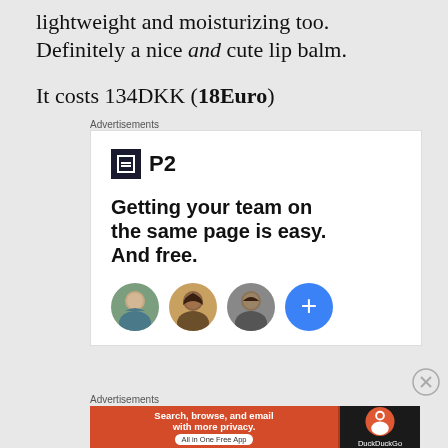lightweight and moisturizing too. Definitely a nice and cute lip balm.
It costs 134DKK (18Euro)
Advertisements
[Figure (infographic): P2 advertisement. Shows P2 logo with dark square icon, headline 'Getting your team on the same page is easy. And free.' and three circular avatar photos plus a blue plus button.]
Advertisements
[Figure (infographic): DuckDuckGo advertisement. Orange section: 'Search, browse, and email with more privacy. All in One Free App'. Dark section with DuckDuckGo logo and text.]